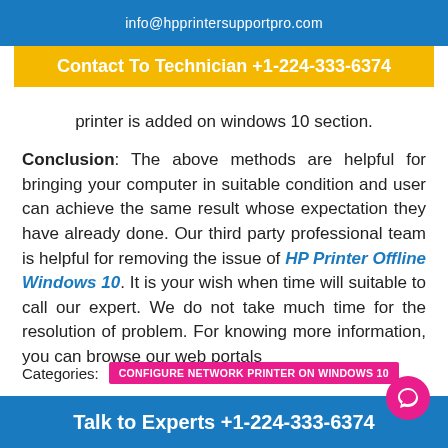info@hpprintersupportpro.com
Contact To Technician +1-224-333-6374
printer is added on windows 10 section.
Conclusion: The above methods are helpful for bringing your computer in suitable condition and user can achieve the same result whose expectation they have already done. Our third party professional team is helpful for removing the issue of HP Printer Offline Windows 10. It is your wish when time will suitable to call our expert. We do not take much time for the resolution of problem. For knowing more information, you can browse our web portals
Categories: CONFIGURE NETWORK PRINTER ON WINDOWS 10
Tags: hp printer is offline   hp printer offline   hp printer says o
Talk to Experts +1-224-333-6374